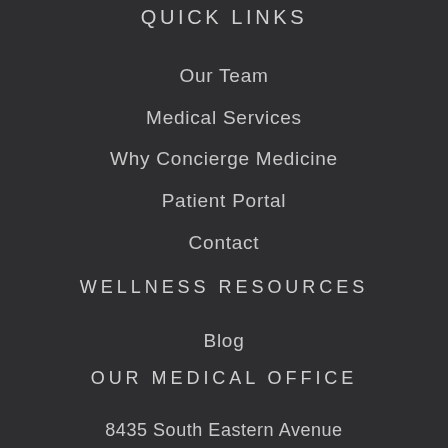QUICK LINKS
Our Team
Medical Services
Why Concierge Medicine
Patient Portal
Contact
WELLNESS RESOURCES
Blog
OUR MEDICAL OFFICE
8435 South Eastern Avenue